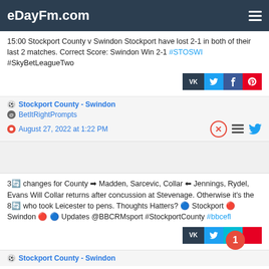eDayFm.com
15:00 Stockport County v Swindon Stockport have lost 2-1 in both of their last 2 matches. Correct Score: Swindon Win 2-1 #STOSWI #SkyBetLeagueTwo
Stockport County - Swindon
BetItRightPrompts
August 27, 2022 at 1:22 PM
3🔄 changes for County ➡ Madden, Sarcevic, Collar ⬅ Jennings, Rydel, Evans Will Collar returns after concussion at Stevenage. Otherwise it's the 8🔄 who took Leicester to pens. Thoughts Hatters? 🔵 Stockport 🔴 Swindon 🔴 🔵 Updates @BBCRMsport #StockportCounty #bbcefl
Stockport County - Swindon